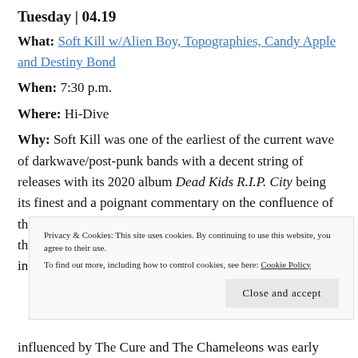Tuesday | 04.19
What: Soft Kill w/Alien Boy, Topographies, Candy Apple and Destiny Bond
When: 7:30 p.m.
Where: Hi-Dive
Why: Soft Kill was one of the earliest of the current wave of darkwave/post-punk bands with a decent string of releases with its 2020 album Dead Kids R.I.P. City being its finest and a poignant commentary on the confluence of the growth of Portland, Oregon both organically and through the poisonously mutant manner that the tech industry and other moneyed
Privacy & Cookies: This site uses cookies. By continuing to use this website, you agree to their use. To find out more, including how to control cookies, see here: Cookie Policy
influenced by The Cure and The Chameleons was early